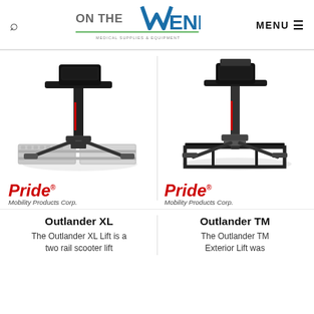[Figure (logo): On The Mend Medical Supplies & Equipment logo with stylized M and blue/green colors]
[Figure (photo): Pride Mobility Outlander XL exterior vehicle lift product photo on white background]
[Figure (logo): Pride Mobility Products Corp. logo in red italic]
[Figure (photo): Pride Mobility Outlander TM exterior vehicle lift product photo on white background]
[Figure (logo): Pride Mobility Products Corp. logo in red italic]
Outlander XL
The Outlander XL Lift is a two rail scooter lift
Outlander TM
The Outlander TM Exterior Lift was